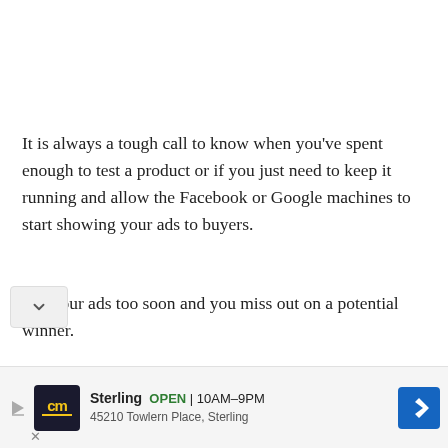It is always a tough call to know when you've spent enough to test a product or if you just need to keep it running and allow the Facebook or Google machines to start showing your ads to buyers.
Cut your ads too soon and you miss out on a potential winner.
Run your ads too long and you end up spending more ey on a dud.
[Figure (other): Advertisement banner for Sterling store showing CM logo, store name, open hours 10AM-9PM, address 45210 Towlern Place, Sterling, and a blue navigation arrow icon]